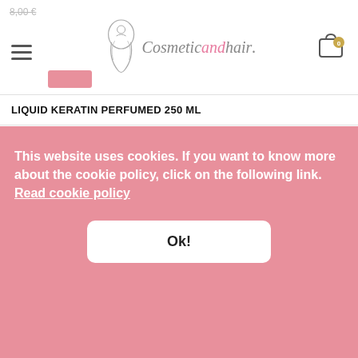[Figure (screenshot): Website header with hamburger menu, Cosmeticandhair logo with decorative mermaid illustration, and shopping cart icon with badge showing 0]
LIQUID KERATIN PERFUMED 250 ML
[Figure (photo): Product image area showing a faint bottle silhouette of liquid keratin product]
This website uses cookies. If you want to know more about the cookie policy, click on the following link. Read cookie policy
Ok!